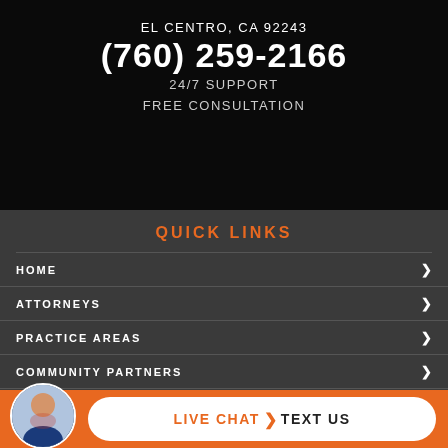EL CENTRO, CA 92243
(760) 259-2166
24/7 SUPPORT
FREE CONSULTATION
QUICK LINKS
HOME
ATTORNEYS
PRACTICE AREAS
COMMUNITY PARTNERS
VIDEO CENTER
CASE RESULTS
LIVE CHAT  TEXT US